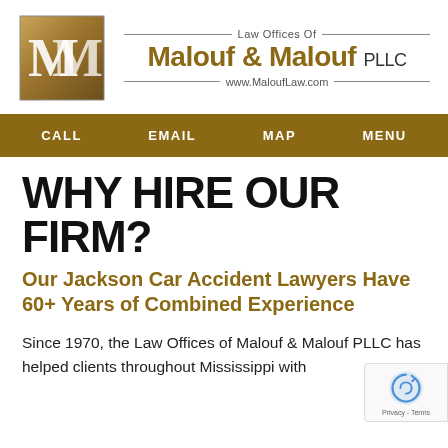[Figure (logo): Malouf & Malouf PLLC law firm logo with stylized MM monogram on a gold/brown gradient square, and firm name with website]
CALL   EMAIL   MAP   MENU
WHY HIRE OUR FIRM?
Our Jackson Car Accident Lawyers Have 60+ Years of Combined Experience
Since 1970, the Law Offices of Malouf & Malouf PLLC has helped clients throughout Mississippi with personal injury and family law matters. For example,